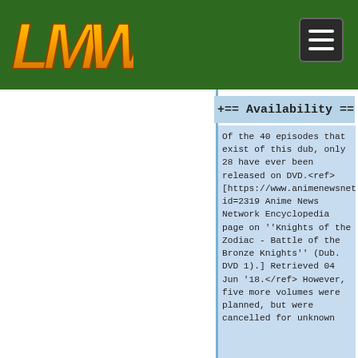[Figure (logo): LMW logo in orange/yellow stylized text on dark green header background]
== Availability ==
Of the 40 episodes that exist of this dub, only 28 have ever been released on DVD.<ref>[https://www.animenewsnetwork.com/encyclopedia/releases.php?id=2319 Anime News Network Encyclopedia page on ''Knights of the Zodiac - Battle of the Bronze Knights'' (Dub. DVD 1).] Retrieved 04 Jun '18.</ref> However, five more volumes were planned, but were cancelled for unknown